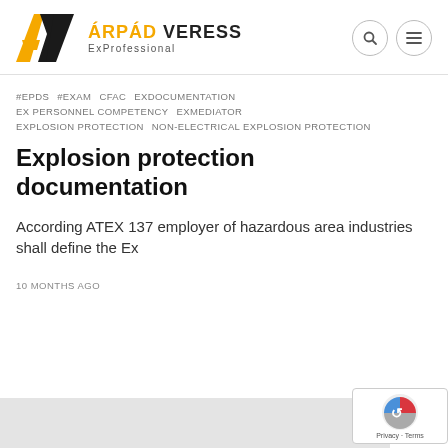ÁRPÁD VERESS ExProfessional
#EPDS  #EXAM  CFAC  EXDOCUMENTATION
EX PERSONNEL COMPETENCY  EXMEDIATOR
EXPLOSION PROTECTION  NON-ELECTRICAL EXPLOSION PROTECTION
Explosion protection documentation
According ATEX 137 employer of hazardous area industries shall define the Ex
10 MONTHS AGO